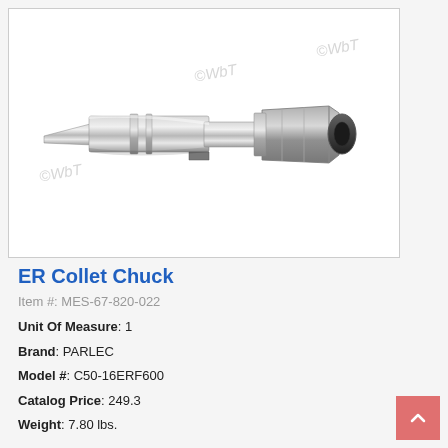[Figure (photo): Photograph of a metallic ER Collet Chuck tool, cylindrical body with threaded collet nut on the right end and tapered shank on the left, stainless steel finish. Watermark '©WbT' visible multiple times.]
ER Collet Chuck
Item #: MES-67-820-022
Unit Of Measure: 1
Brand: PARLEC
Model #: C50-16ERF600
Catalog Price: 249.3
Weight: 7.80 lbs.